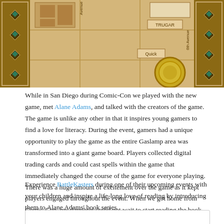[Figure (illustration): A stylized map/game board showing streets and locations in the Gaslamp area, with decorative golden/brown borders and ornate design elements. Labels visible include 'TRUGAR', 'Quick', and street names including '6th Avenue'.]
While in San Diego during Comic-Con we played with the new game, met Alane Adams, and talked with the creators of the game. The game is unlike any other in that it inspires young gamers to find a love for literacy. During the event, gamers had a unique opportunity to play the game as the entire Gaslamp area was transformed into a giant game board. Players collected digital trading cards and could cast spells within the game that immediately changed the course of the game for everyone playing. There was a huge amount of excitement over the game as it kept players engaged throughout the event. When we got home from Comic-Con, my daughter could not wait to start reading the book The Red Sun.
Experience BattleKasters during one of their upcoming events with your children and inspire a life-long love of reading by introducing them to Alane Adams' book series.